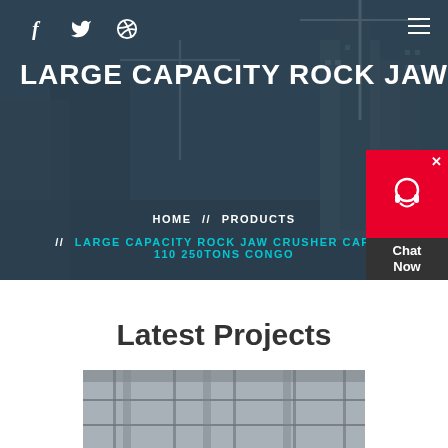[Figure (photo): Hero banner with construction site background showing cranes and buildings under a dark blue overlay]
f  (twitter icon)  (dribbble icon)  ≡
LARGE CAPACITY ROCK JAW CRU
HOME  //  PRODUCTS  //  LARGE CAPACITY ROCK JAW CRUSHER CAPACI  110 250TONS CONGO
[Figure (photo): Chat Now widget with red bubble and headset icon]
Latest Projects
[Figure (photo): Construction site project image showing industrial building interior]